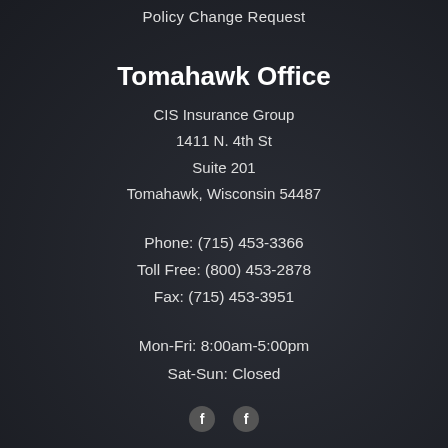Policy Change Request
Tomahawk Office
CIS Insurance Group
1411 N. 4th St
Suite 201
Tomahawk, Wisconsin 54487
Phone: (715) 453-3366
Toll Free: (800) 453-2878
Fax: (715) 453-3951
Mon-Fri: 8:00am-5:00pm
Sat-Sun: Closed
[Figure (illustration): Two social media icons (Facebook) at the bottom center]